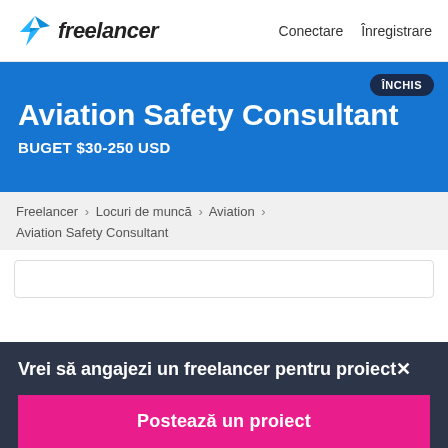freelancer   Conectare  Înregistrare
Aviation Safety Consultant
BUGET $30-250 USD
ÎNCHIS
Freelancer › Locuri de muncă › Aviation › Aviation Safety Consultant
Vrei să angajezi un freelancer pentru proiect×
Postează un proiect